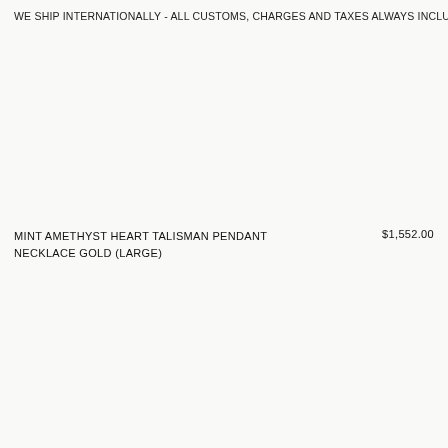WE SHIP INTERNATIONALLY - ALL CUSTOMS, CHARGES AND TAXES ALWAYS INCLUD
MINT AMETHYST HEART TALISMAN PENDANT NECKLACE GOLD (LARGE)   $1,552.00